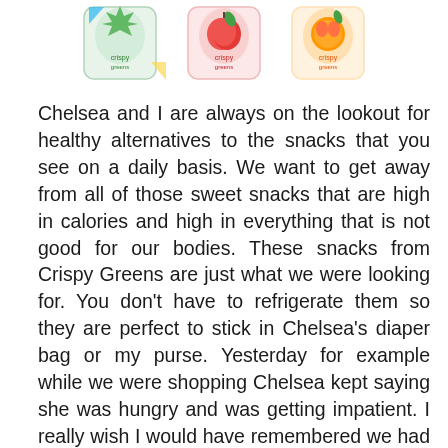[Figure (photo): Three Crispy Greens freeze-dried fruit snack packages shown side by side — featuring colorful fruit character designs in blue/yellow, red, and orange themes.]
Chelsea and I are always on the lookout for healthy alternatives to the snacks that you see on a daily basis. We want to get away from all of those sweet snacks that are high in calories and high in everything that is not good for our bodies. These snacks from Crispy Greens are just what we were looking for. You don't have to refrigerate them so they are perfect to stick in Chelsea's diaper bag or my purse. Yesterday for example while we were shopping Chelsea kept saying she was hungry and was getting impatient. I really wish I would have remembered we had these delicious snacks at home. These freeze dried fruit snacks are so delicious. I love that they come in many flavors. Click on the link above if you would like to